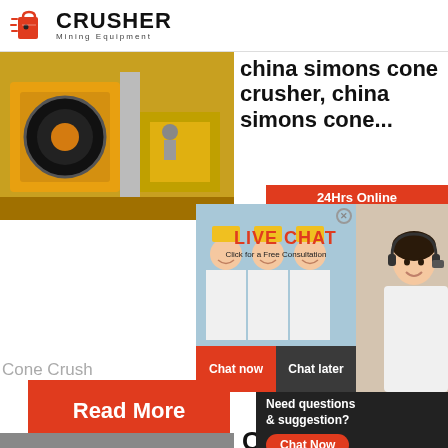[Figure (logo): Crusher Mining Equipment logo with red shopping bag icon and bold black CRUSHER text, Mining Equipment subtitle]
[Figure (photo): Yellow industrial jaw crusher / mining equipment machinery photo]
china simons cone crusher, china simons cone
24Hrs Online
[Figure (photo): Live chat overlay with workers in yellow hard hats, LIVE CHAT heading in red, Click for a Free Consultation subtitle, Chat now and Chat later buttons]
[Figure (photo): Customer service representative with headset on right side]
Cone Crush
Read More
Need questions & suggestion?
Chat Now
Enquiry
limingjlmofen@sina.com
[Figure (photo): Bottom image of crushed aggregate / mining material]
Cone
- Hangzhou